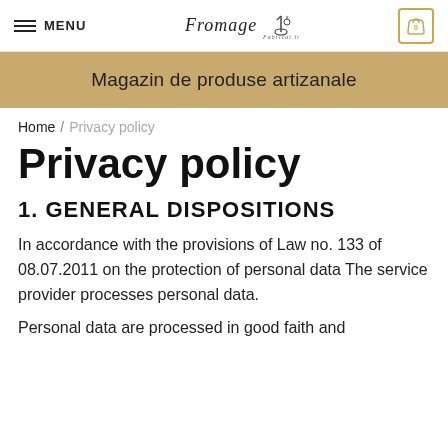MENU | Fromage | 0
Magazin de produse artizanale
Home / Privacy policy
Privacy policy
1. GENERAL DISPOSITIONS
In accordance with the provisions of Law no. 133 of 08.07.2011 on the protection of personal data The service provider processes personal data.
Personal data are processed in good faith and